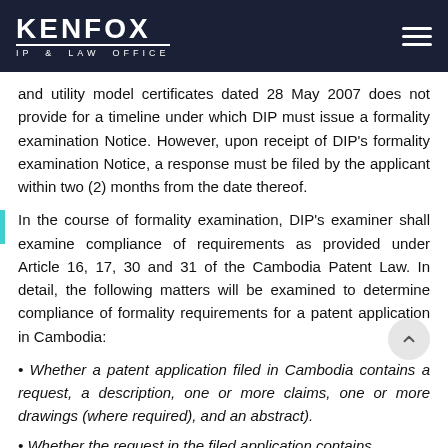KENFOX IP & LAW OFFICE
and utility model certificates dated 28 May 2007 does not provide for a timeline under which DIP must issue a formality examination Notice. However, upon receipt of DIP’s formality examination Notice, a response must be filed by the applicant within two (2) months from the date thereof.
In the course of formality examination, DIP’s examiner shall examine compliance of requirements as provided under Article 16, 17, 30 and 31 of the Cambodia Patent Law. In detail, the following matters will be examined to determine compliance of formality requirements for a patent application in Cambodia:
• Whether a patent application filed in Cambodia contains a request, a description, one or more claims, one or more drawings (where required), and an abstract).
• Whether the request in the filed application contains...